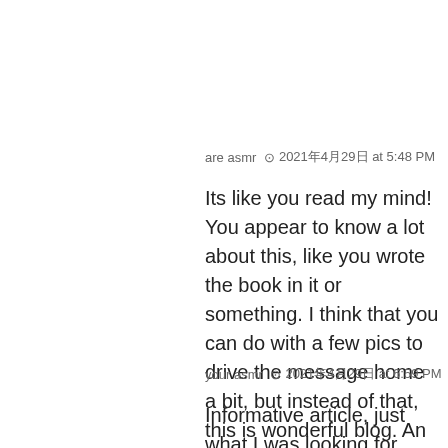are asmr  🕐 2021年4月29日 at 5:48 PM
Its like you read my mind! You appear to know a lot about this, like you wrote the book in it or something. I think that you can do with a few pics to drive the message home a bit, but instead of that, this is wonderful blog. An excellent read. I will certainly be back.
your asmr  🕐 2021年4月29日 at 6:59 PM
Informative article, just what I was looking for